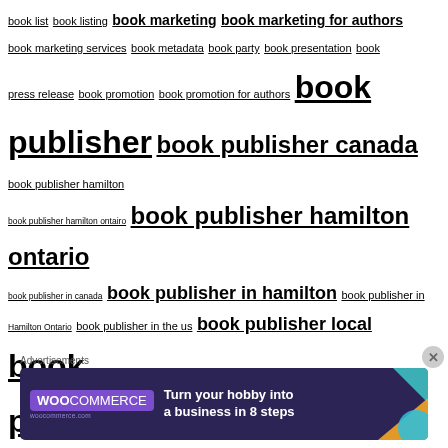book list book listing book marketing book marketing for authors book marketing services book metadata book party book presentation book press release book promotion book promotion for authors book publisher book publisher canada book publisher hamilton book publisher hamilton ontairo book publisher hamilton ontario book publisher in canada book publisher in hamilton book publisher in Hamilton Ontario book publisher in the us book publisher local book publisher near me book publisher ontario book publishers in hamilton book publisher united states book publisher us book publisher usa book publisher usa book publishing book publishing near me book recommendation book recommendations book research book review book reviews books books about animals books about farms books about imagination books about siblings books about teamwork book sale advice for authors book sale best practices book sales books are here to stay books are
[Figure (screenshot): WooCommerce advertisement banner: dark purple background with WooCommerce logo on left, text 'Turn your hobby into a business in 8 steps', and colored geometric shapes on right]